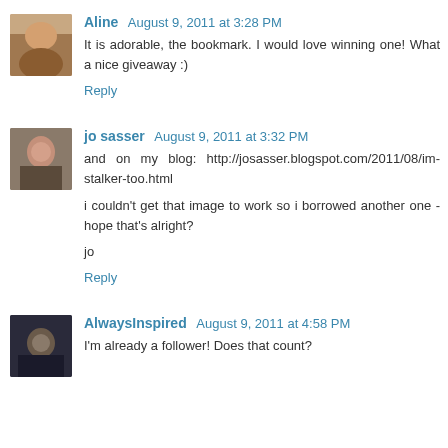[Figure (photo): Avatar thumbnail of user Aline - close-up warm toned photo]
Aline  August 9, 2011 at 3:28 PM
It is adorable, the bookmark. I would love winning one! What a nice giveaway :)
Reply
[Figure (photo): Avatar thumbnail of user jo sasser - woman portrait]
jo sasser  August 9, 2011 at 3:32 PM
and on my blog: http://josasser.blogspot.com/2011/08/im-stalker-too.html

i couldn't get that image to work so i borrowed another one - hope that's alright?

jo
Reply
[Figure (photo): Avatar thumbnail of user AlwaysInspired - dark scene photo]
AlwaysInspired  August 9, 2011 at 4:58 PM
I'm already a follower! Does that count?